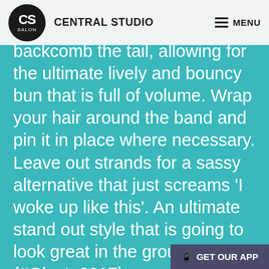CS SALON | CENTRAL STUDIO | MENU
backcomb the tail, allowing for the ultimate lively and bouncy bun that is full of volume. Wrap your hair around the band and pin it in place where necessary. Leave out strands for a sassy alternative that just screams 'I woke up like this'. An ultimate stand out style that is going to look great in the group selfie (#Glasto2017).
Happy (almost) festival season everyone! If you'd like to create a bold, new you for an upcoming festival, pop in to tell us what you'd like or give us a